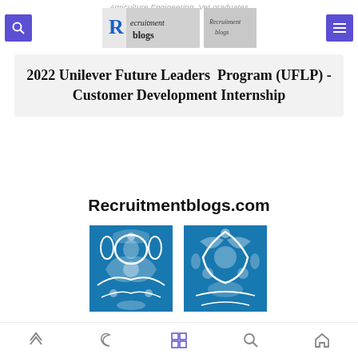Agriculture,Engineering, Vet graduates
2022 Unilever Future Leaders Program (UFLP) - Customer Development Internship
Recruitmentblogs.com
[Figure (illustration): Two Unilever-branded decorative tile images with blue floral/nature patterns on white background, side by side]
Navigation icons: up chevron, moon, grid, search, home